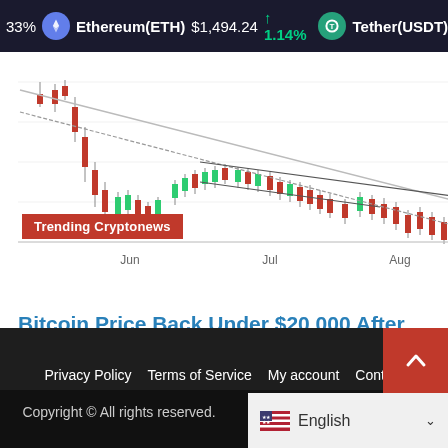33%  Ethereum(ETH)  $1,494.24  ↑ 1.14%  Tether(USDT)  $1
[Figure (continuous-plot): Bitcoin price candlestick/line chart showing price decline from May through August, with a downward trend line and label 'Trending Cryptonews' overlaid in red]
Trending Cryptonews
Bitcoin Price Back Under $20,000 After Fed-Driven Slump, ETH, XRP, Aug. 29
6 mins ago
Privacy Policy   Terms of Service   My account   Contact
Copyright © All rights reserved.